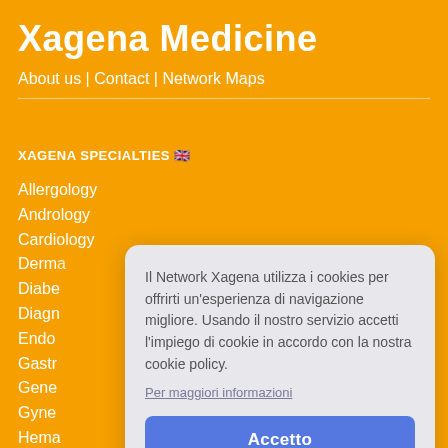Xagena Medicine
About us | Contact | Network Maps
XAGENA SPECIALTIES 🇬🇧
Allergology
Andrology
Cardiology
Derm…
Diabe…
Diagn…
Endo…
Gastr…
Gene…
Gyne…
Hema…
Hepa…
Infect…
Meta…
Nephrology
Il Network Xagena utilizza i cookies per offrirti un'esperienza di navigazione migliore. Usando il nostro servizio accetti l'impiego di cookie in accordo con la nostra cookie policy.
Per maggiori informazioni
Accetto